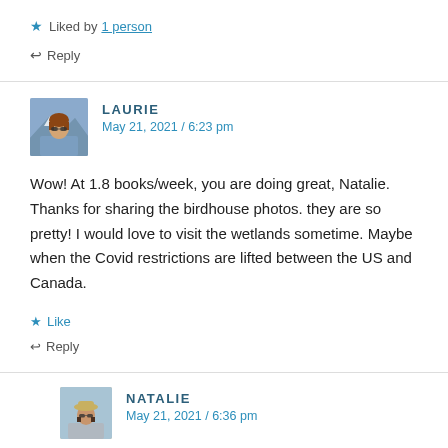★ Liked by 1 person
↩ Reply
LAURIE
May 21, 2021 / 6:23 pm
Wow! At 1.8 books/week, you are doing great, Natalie. Thanks for sharing the birdhouse photos. they are so pretty! I would love to visit the wetlands sometime. Maybe when the Covid restrictions are lifted between the US and Canada.
★ Like
↩ Reply
NATALIE
May 21, 2021 / 6:36 pm